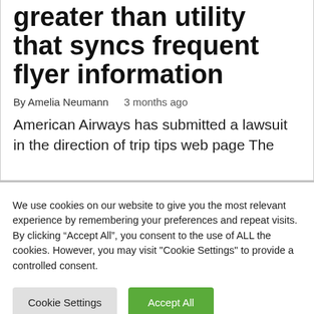greater than utility that syncs frequent flyer information
By Amelia Neumann   3 months ago
American Airways has submitted a lawsuit in the direction of trip tips web page The
We use cookies on our website to give you the most relevant experience by remembering your preferences and repeat visits. By clicking “Accept All”, you consent to the use of ALL the cookies. However, you may visit "Cookie Settings" to provide a controlled consent.
Cookie Settings   Accept All